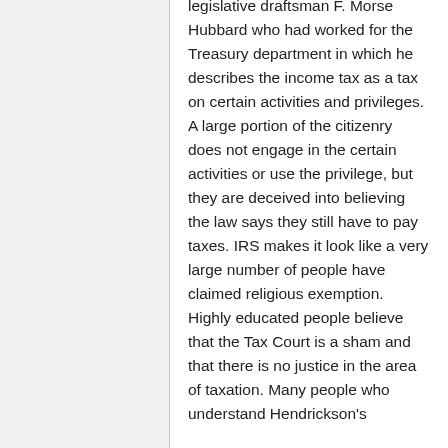legislative draftsman F. Morse Hubbard who had worked for the Treasury department in which he describes the income tax as a tax on certain activities and privileges. A large portion of the citizenry does not engage in the certain activities or use the privilege, but they are deceived into believing the law says they still have to pay taxes. IRS makes it look like a very large number of people have claimed religious exemption. Highly educated people believe that the Tax Court is a sham and that there is no justice in the area of taxation. Many people who understand Hendrickson's